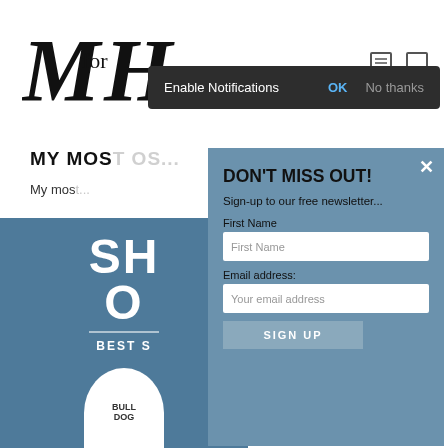[Figure (screenshot): Website page screenshot showing a men's grooming blog 'M for H' with a notification permission bar and a newsletter signup modal overlay on a steeel-blue background with product image.]
Enable Notifications   OK   No thanks
DON'T MISS OUT!
Sign-up to our free newsletter...
First Name
First Name
Email address:
Your email address
SIGN UP